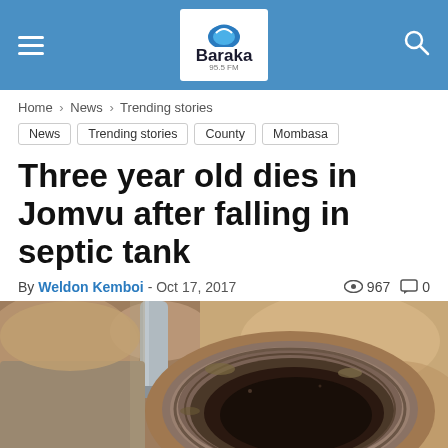Baraka FM — navigation header with hamburger menu, logo, and search icon
Home › News › Trending stories
News
Trending stories
County
Mombasa
Three year old dies in Jomvu after falling in septic tank
By Weldon Kemboi - Oct 17, 2017  967  0
[Figure (photo): Photograph of an open septic tank/manhole showing the circular concrete rim and dark opening, shot from above at ground level with sandy/earthy surroundings and a grey pipe visible on the left side.]